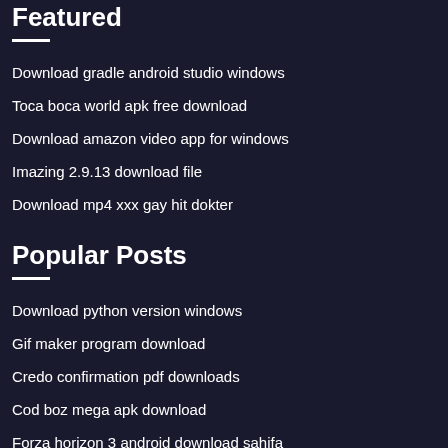Featured
Download gradle android studio windows
Toca boca world apk free download
Download amazon video app for windows
Imazing 2.9.13 download file
Download mp4 xxx gay hit dokter
Popular Posts
Download python version windows
Gif maker program download
Credo confirmation pdf downloads
Cod boz mega apk download
Forza horizon 3 android download sahifa